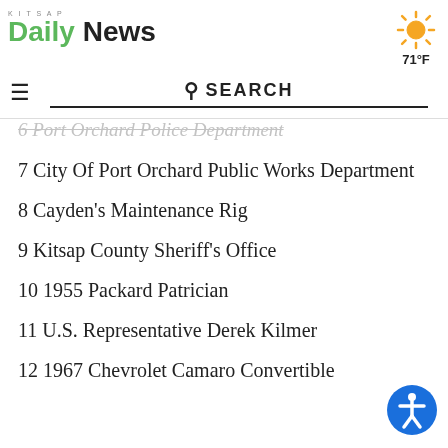Kitsap Daily News — 71°F
6 Port Orchard Police Department
7 City Of Port Orchard Public Works Department
8 Cayden's Maintenance Rig
9 Kitsap County Sheriff's Office
10 1955 Packard Patrician
11 U.S. Representative Derek Kilmer
12 1967 Chevrolet Camaro Convertible